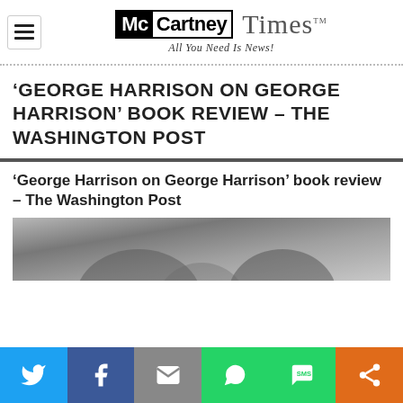McCartney Times — All You Need Is News!
'GEORGE HARRISON ON GEORGE HARRISON' BOOK REVIEW – THE WASHINGTON POST
'George Harrison on George Harrison' book review – The Washington Post
[Figure (photo): Black and white photograph of George Harrison]
[Figure (infographic): Social sharing bar with Twitter, Facebook, Email, WhatsApp, SMS, and Share icons]